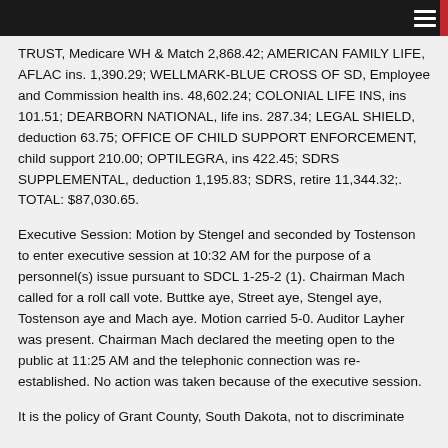TRUST, Medicare WH & Match 2,868.42; AMERICAN FAMILY LIFE, AFLAC ins. 1,390.29; WELLMARK-BLUE CROSS OF SD, Employee and Commission health ins. 48,602.24; COLONIAL LIFE INS, ins 101.51; DEARBORN NATIONAL, life ins. 287.34; LEGAL SHIELD, deduction 63.75; OFFICE OF CHILD SUPPORT ENFORCEMENT, child support 210.00; OPTILEGRA, ins 422.45; SDRS SUPPLEMENTAL, deduction 1,195.83; SDRS, retire 11,344.32;. TOTAL: $87,030.65.
Executive Session: Motion by Stengel and seconded by Tostenson to enter executive session at 10:32 AM for the purpose of a personnel(s) issue pursuant to SDCL 1-25-2 (1). Chairman Mach called for a roll call vote. Buttke aye, Street aye, Stengel aye, Tostenson aye and Mach aye. Motion carried 5-0. Auditor Layher was present. Chairman Mach declared the meeting open to the public at 11:25 AM and the telephonic connection was re-established. No action was taken because of the executive session.
It is the policy of Grant County, South Dakota, not to discriminate